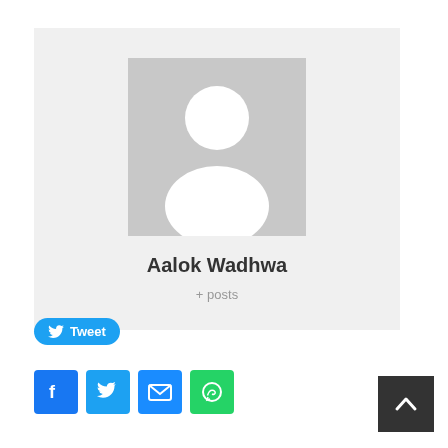[Figure (illustration): Profile card with grey placeholder avatar (white silhouette on grey background), name Aalok Wadhwa, and + posts link]
Aalok Wadhwa
+ posts
[Figure (illustration): Tweet button with Twitter bird icon]
[Figure (illustration): Social share icons row: Facebook, Twitter, Email, WhatsApp]
[Figure (illustration): Back to top button with upward chevron arrow]